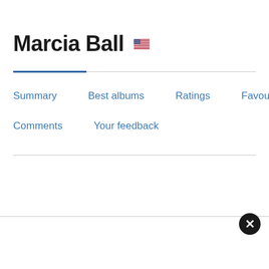Marcia Ball 🇺🇸
Summary
Best albums
Ratings
Favourites
Comments
Your feedback